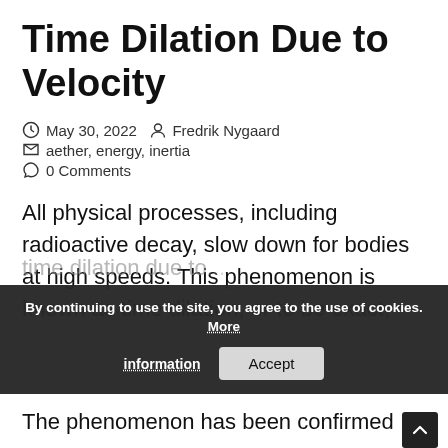Time Dilation Due to Velocity
May 30, 2022   Fredrik Nygaard   aether, energy, inertia   0 Comments
All physical processes, including radioactive decay, slow down for bodies at high speeds. This phenomenon is known as time dilation, or to be exact, time dilation due to velocity.
The phenomenon has been confirmed